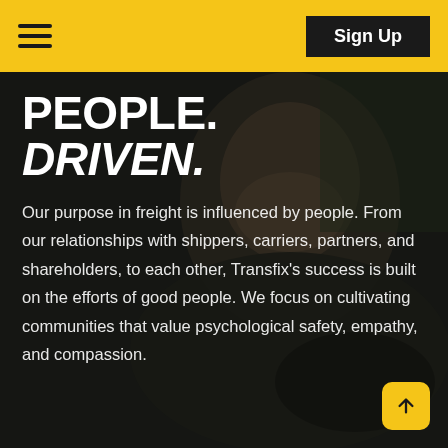Sign Up
[Figure (photo): Dark background photo of a smiling, bearded older man sitting in the driver's seat of a vehicle, with a warm expression, partially obscured by dark overlay with text.]
PEOPLE. DRIVEN.
Our purpose in freight is influenced by people. From our relationships with shippers, carriers, partners, and shareholders, to each other, Transfix's success is built on the efforts of good people. We focus on cultivating communities that value psychological safety, empathy, and compassion.